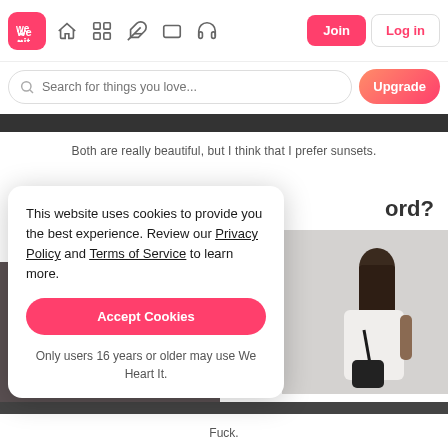We Heart It navigation bar with Join and Log in buttons
Search for things you love...
Both are really beautiful, but I think that I prefer sunsets.
ord?
This website uses cookies to provide you the best experience. Review our Privacy Policy and Terms of Service to learn more.
Accept Cookies
Only users 16 years or older may use We Heart It.
Fuck.